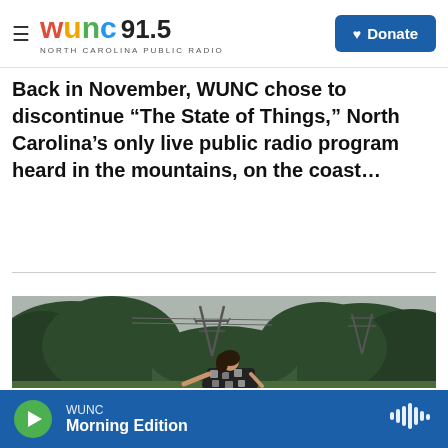WUNC 91.5 North Carolina Public Radio | Donate
Back in November, WUNC chose to discontinue “The State of Things,” North Carolina’s only live public radio program heard in the mountains, on the coast…
LISTEN • 30:56
[Figure (photo): Woman in a black and white patterned dress posing outdoors in a field, leaning back with arms outstretched, with dense green trees and electrical power line towers visible in the background against an overcast sky.]
WUNC Morning Edition